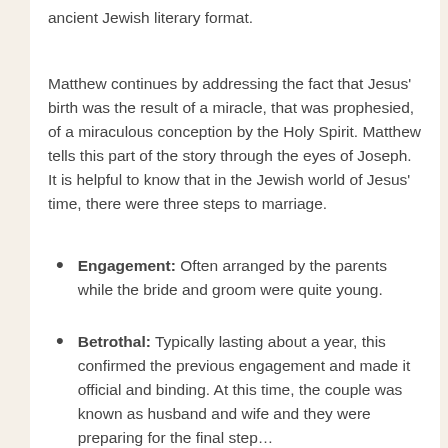ancient Jewish literary format.
Matthew continues by addressing the fact that Jesus' birth was the result of a miracle, that was prophesied, of a miraculous conception by the Holy Spirit. Matthew tells this part of the story through the eyes of Joseph. It is helpful to know that in the Jewish world of Jesus' time, there were three steps to marriage.
Engagement: Often arranged by the parents while the bride and groom were quite young.
Betrothal: Typically lasting about a year, this confirmed the previous engagement and made it official and binding. At this time, the couple was known as husband and wife and they were preparing for the final step…
Marriage: This took place after the wedding, after the